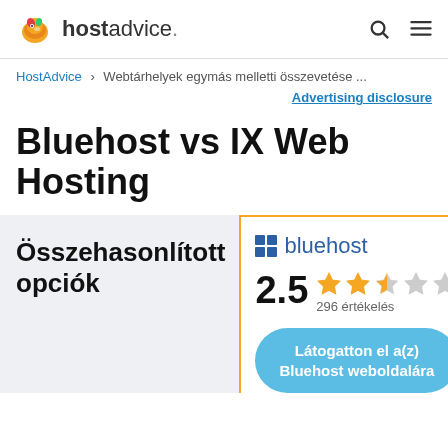hostadvice.
HostAdvice > Webtárhelyek egymás melletti összevetése ...
Advertising disclosure
Bluehost vs IX Web Hosting
Összehasonlított opciók
[Figure (logo): Bluehost logo with grid icon and blue text]
2.5  296 értékelés
Látogatton el a(z) Bluehost weboldalára